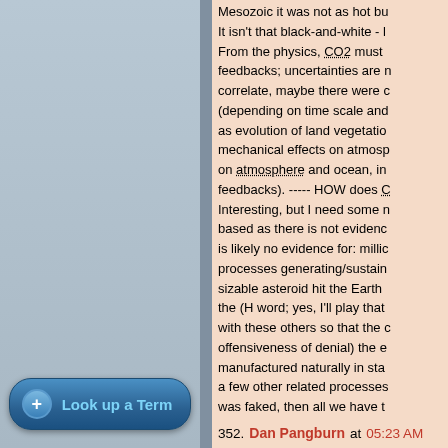Mesozoic it was not as hot bu It isn't that black-and-white - l From the physics, CO2 must feedbacks; uncertainties are n correlate, maybe there were c (depending on time scale and as evolution of land vegetatio mechanical effects on atmosp on atmosphere and ocean, in feedbacks). ----- HOW does C Interesting, but I need some n based as there is not evidenc is likely no evidence for: millic processes generating/sustain sizable asteroid hit the Earth the (H word; yes, I'll play that with these others so that the c offensiveness of denial) the e manufactured naturally in sta a few other related processes was faked, then all we have t
352. Dan Pangburn at 05:23 AM As experienced during the Ma sunspots is associated with c http://scienceandpublicpolicy. df ). This indicates a connecti earth's surface. It is revealing